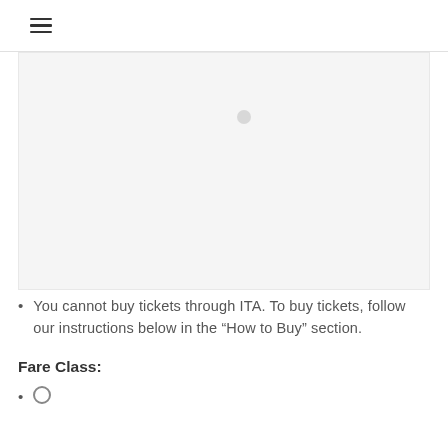☰
[Figure (other): Gray placeholder image area with a small circular loading or icon element near the top center]
You cannot buy tickets through ITA. To buy tickets, follow our instructions below in the “How to Buy” section.
Fare Class:
○